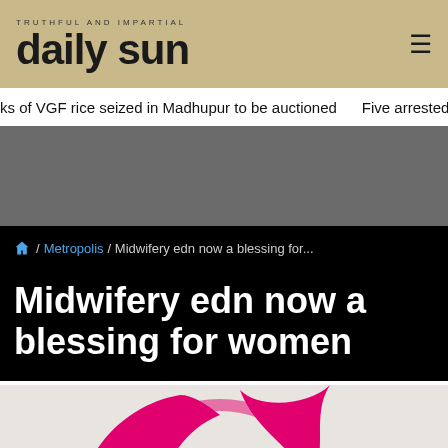daily sun
ks of VGF rice seized in Madhupur to be auctioned   Five arrested ov
/ Metropolis / Midwifery edn now a blessing for...
Midwifery edn now a blessing for women
[Figure (logo): Midwifery logo with pink and blue stylized figures forming a circular design]